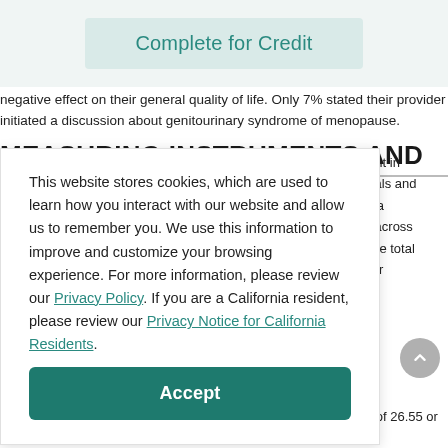[Figure (screenshot): Complete for Credit button in a light teal/green box]
negative effect on their general quality of life. Only 7% stated their provider initiated a discussion about genitourinary syndrome of menopause.
MEASURING INSTRUMENTS AND
This website stores cookies, which are used to learn how you interact with our website and allow us to remember you. We use this information to improve and customize your browsing experience. For more information, please review our Privacy Policy. If you are a California resident, please review our Privacy Notice for California Residents.
[Figure (screenshot): Accept button for cookie consent]
ument in al trials and with a sed across n. The total better
sexual function, with a highest possible total score of 26. Scores of 26.55 or less